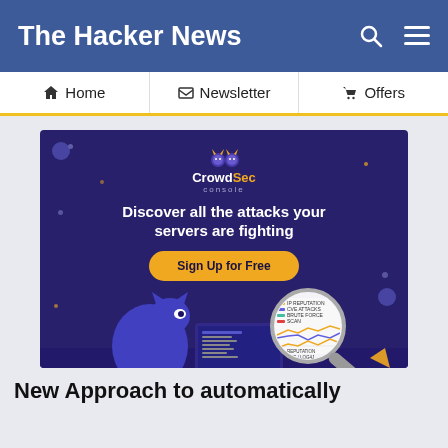The Hacker News
Home  Newsletter  Offers
[Figure (illustration): CrowdSec console advertisement banner — dark purple/navy background with CrowdSec logo (two characters with horns), headline 'Discover all the attacks your servers are fighting', orange 'Sign Up for Free' button, illustration of a cat-like figure at a computer with magnified analytics dashboard showing line charts]
New Approach to automatically